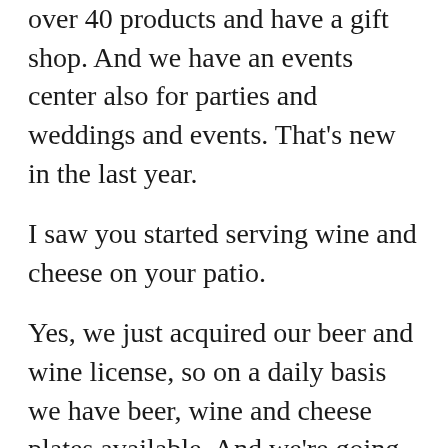over 40 products and have a gift shop. And we have an events center also for parties and weddings and events. That's new in the last year.
I saw you started serving wine and cheese on your patio.
Yes, we just acquired our beer and wine license, so on a daily basis we have beer, wine and cheese plates available. And we're going to have a mini wedding fair out here August 20, with local vendors and restaurants. But this weekend we have our next tasting on the 18th and…